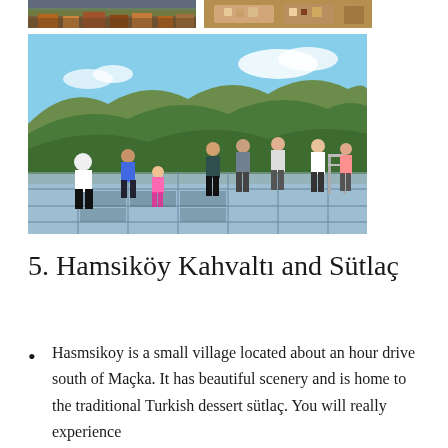[Figure (photo): Two photos at the top: left shows an aerial view of a hillside village with terracotta rooftops; right shows a wooden table with plates and food items.]
[Figure (photo): Large photo of tourists walking on a glass-floor observation deck overlooking a mountainous valley with forested green hills and blue sky.]
5. Hamsiköy Kahvaltı and Sütlaç
Hasmsikoy is a small village located about an hour drive south of Maçka. It has beautiful scenery and is home to the traditional Turkish dessert sütlaç. You will really experience